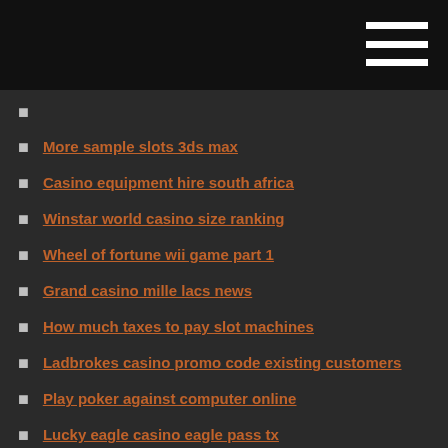More sample slots 3ds max
Casino equipment hire south africa
Winstar world casino size ranking
Wheel of fortune wii game part 1
Grand casino mille lacs news
How much taxes to pay slot machines
Ladbrokes casino promo code existing customers
Play poker against computer online
Lucky eagle casino eagle pass tx
Vortex poker 2 cherry mx red
Winning too much online casino
Winward casino no deposit bonus code
Roulette pour travailler les abdos